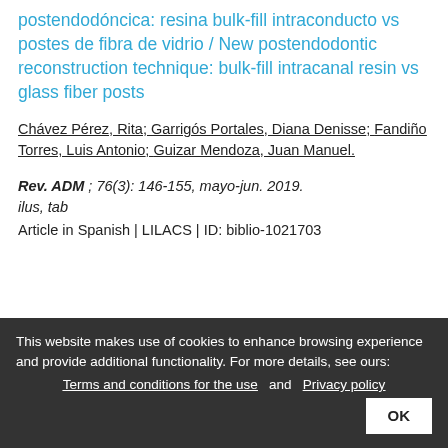Nueva técnica de reconstrucción postendodóncica: resina bulk-fill intraconducto vs postes de fibra de vidrio / New postendodontic reconstruction technique: bulk-fill intracanal resin vs glass fiber posts
Chávez Pérez, Rita; Garrigós Portales, Diana Denisse; Fandiño Torres, Luis Antonio; Guizar Mendoza, Juan Manuel.
Rev. ADM ; 76(3): 146-155, mayo-jun. 2019. ilus, tab
Article in Spanish | LILACS | ID: biblio-1021703
This website makes use of cookies to enhance browsing experience and provide additional functionality. For more details, see ours: Terms and conditions for the use and Privacy policy